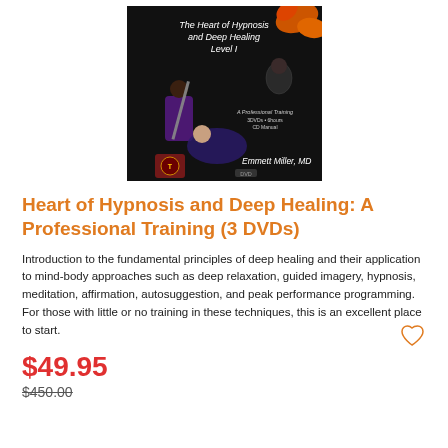[Figure (photo): DVD product cover for 'The Heart of Hypnosis and Deep Healing Level I' by Emmett Miller, MD. Black background with people in hypnosis session and autumn leaves decoration. Text mentions A Professional Training, 3DVDs, 6hours, CD Manual.]
Heart of Hypnosis and Deep Healing: A Professional Training (3 DVDs)
Introduction to the fundamental principles of deep healing and their application to mind-body approaches such as deep relaxation, guided imagery, hypnosis, meditation, affirmation, autosuggestion, and peak performance programming. For those with little or no training in these techniques, this is an excellent place to start.
$49.95
$450.00